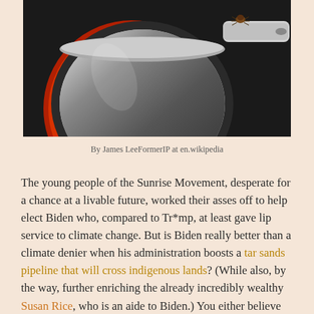[Figure (photo): Close-up photograph of a stainless steel pot or pan with a red heating element glow visible underneath, sitting on a dark stovetop surface. A small insect (possibly a tick or bug) is visible on the handle of the pan.]
By James LeeFormerIP at en.wikipedia
The young people of the Sunrise Movement, desperate for a chance at a livable future, worked their asses off to help elect Biden who, compared to Tr*mp, at least gave lip service to climate change. But is Biden really better than a climate denier when his administration boosts a tar sands pipeline that will cross indigenous lands? (While also, by the way, further enriching the already incredibly wealthy Susan Rice, who is an aide to Biden.) You either believe we're in a crisis and use the enormous